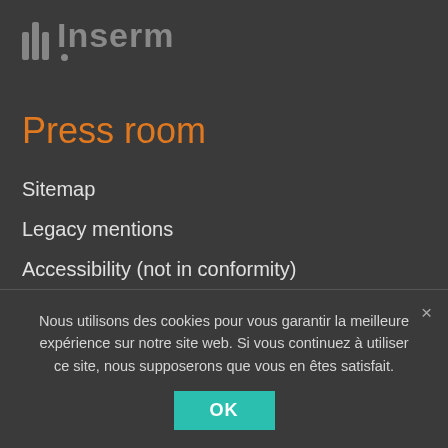[Figure (logo): Inserm logo with vertical bar chart icon and text 'Inserm' in gray with a dot below]
Press room
Sitemap
Legacy mentions
Accessibility (not in conformity)
CONTACTS
Ask your question to the Inserm press office :
Nous utilisons des cookies pour vous garantir la meilleure expérience sur notre site web. Si vous continuez à utiliser ce site, nous supposerons que vous en êtes satisfait.
OK